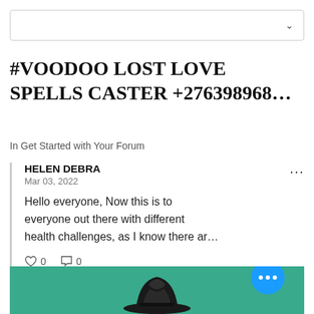[Figure (screenshot): Search bar with dropdown chevron icon at top of page]
#VOODOO LOST LOVE SPELLS CASTER +276398968…
In Get Started with Your Forum
HELEN DEBRA
Mar 03, 2022

Hello everyone, Now this is to everyone out there with different health challenges, as I know there ar…

♡ 0   ☐ 0
[Figure (screenshot): Teal/green background section with a black and white hat/figure illustration and a blue circular chat button with three white dots]